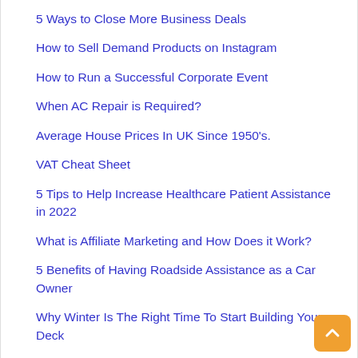5 Ways to Close More Business Deals
How to Sell Demand Products on Instagram
How to Run a Successful Corporate Event
When AC Repair is Required?
Average House Prices In UK Since 1950's.
VAT Cheat Sheet
5 Tips to Help Increase Healthcare Patient Assistance in 2022
What is Affiliate Marketing and How Does it Work?
5 Benefits of Having Roadside Assistance as a Car Owner
Why Winter Is The Right Time To Start Building Your Deck
5 Reasons why high EQ individuals are great employees
How To Store Your Cryptocurrency Offline
Is Car Detailing Worth the Cost?
What Makes a Good Streamer
How Do You Reach The People You Want To Reach With PPC advertisements?
5 Reasons Your Business Should Communicate with Customers
5 Great Tech Investments for Stock Traders
5 Ways to Improve Your Home's Indoor Air Quality
Which App is for you? DComply Co-parenting or Our Family